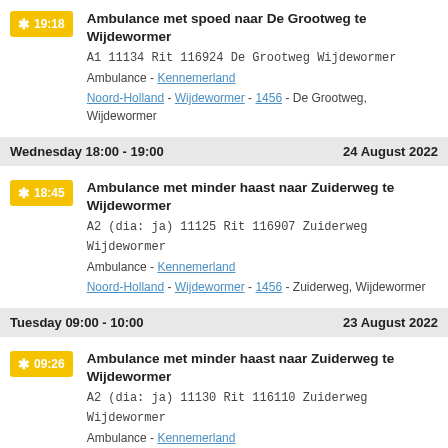19:18 Ambulance met spoed naar De Grootweg te Wijdewormer
A1 11134 Rit 116924 De Grootweg Wijdewormer
Ambulance - Kennemerland
Noord-Holland - Wijdewormer - 1456 - De Grootweg, Wijdewormer
Wednesday 18:00 - 19:00   24 August 2022
18:45 Ambulance met minder haast naar Zuiderweg te Wijdewormer
A2 (dia: ja) 11125 Rit 116907 Zuiderweg Wijdewormer
Ambulance - Kennemerland
Noord-Holland - Wijdewormer - 1456 - Zuiderweg, Wijdewormer
Tuesday 09:00 - 10:00   23 August 2022
09:26 Ambulance met minder haast naar Zuiderweg te Wijdewormer
A2 (dia: ja) 11130 Rit 116110 Zuiderweg Wijdewormer
Ambulance - Kennemerland